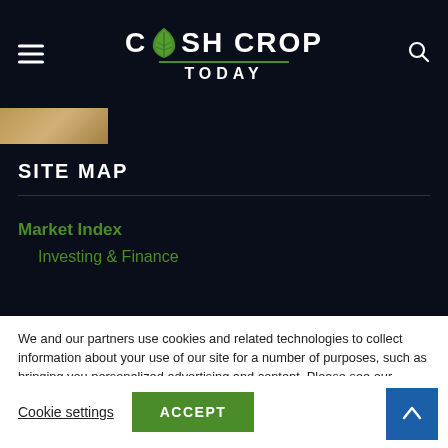CASH CROP TODAY
[Figure (photo): Thumbnail image strip showing a partial cannabis plant or money related photo]
SITE MAP
Market Index
Investing & Finance
We and our partners use cookies and related technologies to collect information about your use of our site for a number of purposes, such as bringing you personalized advertising and content. Please see our Privacy Policy and Cookie Statement for more information about how we use and share your information.
California law considers some of this activity to be a sale. California residents can opt-out of sales through the “Do Not Sell My Info” button.
Cookie settings   ACCEPT